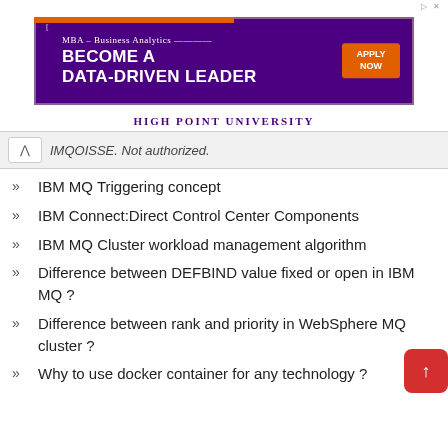[Figure (other): Advertisement banner for High Point University MBA Business Analytics program with purple background and orange 'Apply Now' button]
IMQOISSE. Not authorized.
IBM MQ Triggering concept
IBM Connect:Direct Control Center Components
IBM MQ Cluster workload management algorithm
Difference between DEFBIND value fixed or open in IBM MQ ?
Difference between rank and priority in WebSphere MQ cluster ?
Why to use docker container for any technology ?